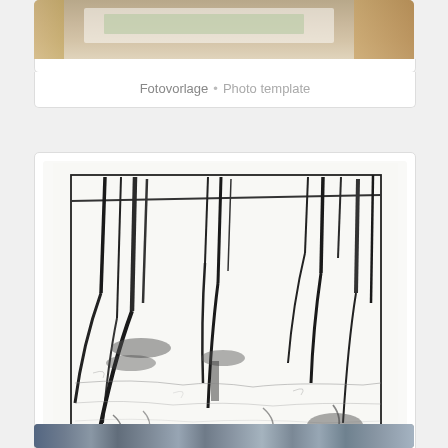[Figure (photo): Partial view of a photo template showing an easel or artwork on a wooden surface, cropped at top of page]
Fotovorlage • Photo template
[Figure (illustration): A charcoal or pencil sketch of tall reeds or grass stems reflected in water, with loose gestural lines forming a rectangular composition]
Skizze • Sketch
[Figure (photo): Partial bottom strip showing colorful abstract or textile imagery, cropped at bottom of page]